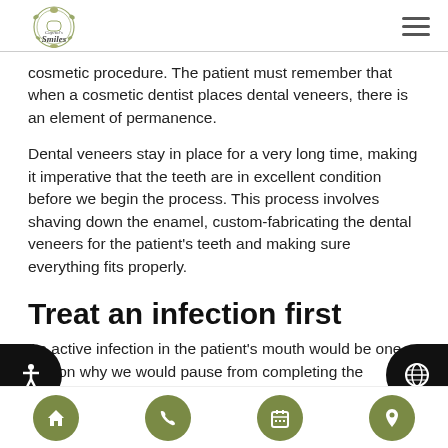Capitol Smiles logo and navigation menu
cosmetic procedure. The patient must remember that when a cosmetic dentist places dental veneers, there is an element of permanence.
Dental veneers stay in place for a very long time, making it imperative that the teeth are in excellent condition before we begin the process. This process involves shaving down the enamel, custom-fabricating the dental veneers for the patient's teeth and making sure everything fits properly.
Treat an infection first
An active infection in the patient's mouth would be one reason why we would pause from completing the procedure
Navigation icons: home, phone, calendar, location